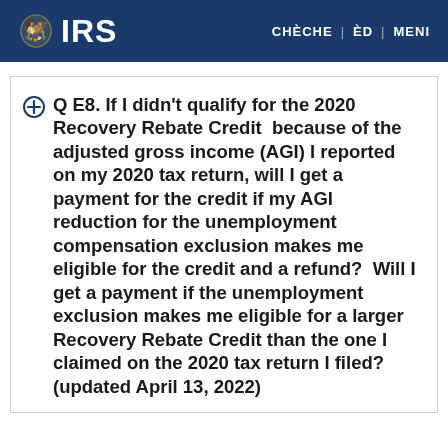IRS | CHÈCHE | ÈD | MENI
Q E8. If I didn't qualify for the 2020 Recovery Rebate Credit because of the adjusted gross income (AGI) I reported on my 2020 tax return, will I get a payment for the credit if my AGI reduction for the unemployment compensation exclusion makes me eligible for the credit and a refund?  Will I get a payment if the unemployment exclusion makes me eligible for a larger Recovery Rebate Credit than the one I claimed on the 2020 tax return I filed? (updated April 13, 2022)